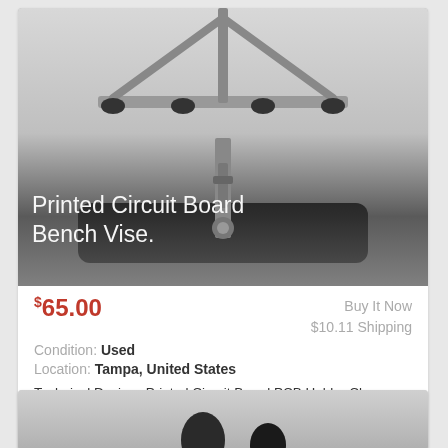[Figure (photo): Photo of a Printed Circuit Board Bench Vise, a metal clamping device with cross bar arms and rubber feet, shown against a white/grey background. Text overlay reads 'Printed Circuit Board Bench Vise.']
$65.00
Buy It Now
$10.11 Shipping
Condition: Used
Location: Tampa, United States
Technical Devices Printed Circuit Board PCB Holder Clamp Vise Bench. Good mechanical condition. Works good. Needs cleaning, needs new rubber feet or can ... more
[Figure (photo): Partial photo of another product listing at the bottom of the page, showing rubber feet or similar dark components against a grey background.]